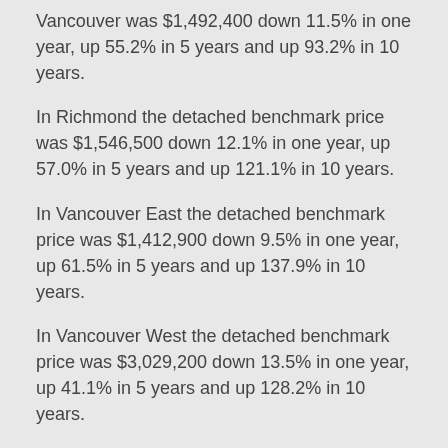Vancouver was $1,492,400 down 11.5% in one year, up 55.2% in 5 years and up 93.2% in 10 years.
In Richmond the detached benchmark price was $1,546,500 down 12.1% in one year, up 57.0% in 5 years and up 121.1% in 10 years.
In Vancouver East the detached benchmark price was $1,412,900 down 9.5% in one year, up 61.5% in 5 years and up 137.9% in 10 years.
In Vancouver West the detached benchmark price was $3,029,200 down 13.5% in one year, up 41.1% in 5 years and up 128.2% in 10 years.
In West Vancouver the detached benchmark price was $2,616,500 down 16.7% in one year, up 35.7% in 5 years and up 108.8% in 10 years.
Each year affordability declined for local buyers. First time buyers are particularly hard hit by mortgage stress tests, high prices and lack of affordable inventory.
In February 2019 the benchmark price for a condo apartment in North Vancouver was $561,500 down 4.7% in one year, up 56.7% in 5